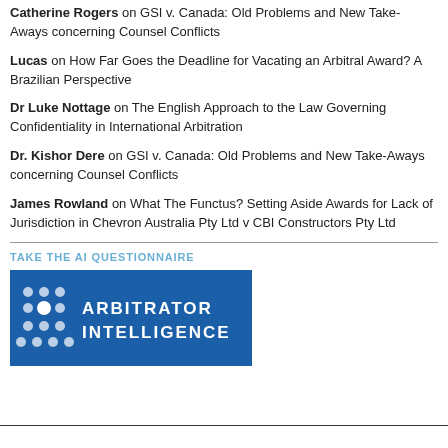Catherine Rogers on GSI v. Canada: Old Problems and New Take-Aways concerning Counsel Conflicts
Lucas on How Far Goes the Deadline for Vacating an Arbitral Award? A Brazilian Perspective
Dr Luke Nottage on The English Approach to the Law Governing Confidentiality in International Arbitration
Dr. Kishor Dere on GSI v. Canada: Old Problems and New Take-Aways concerning Counsel Conflicts
James Rowland on What The Functus? Setting Aside Awards for Lack of Jurisdiction in Chevron Australia Pty Ltd v CBI Constructors Pty Ltd
TAKE THE AI QUESTIONNAIRE
[Figure (logo): Arbitrator Intelligence logo — dark blue rectangle with white dot grid pattern on left and white text ARBITRATOR INTELLIGENCE on right]